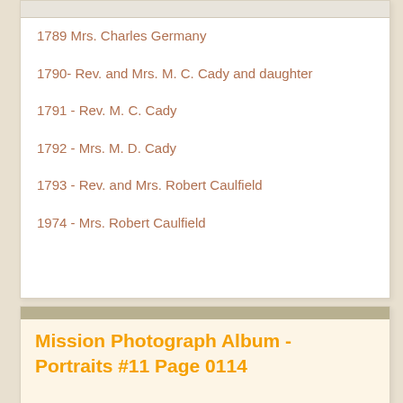1789 Mrs. Charles Germany
1790- Rev. and Mrs. M. C. Cady and daughter
1791 - Rev. M. C. Cady
1792 - Mrs. M. D. Cady
1793 - Rev. and Mrs. Robert Caulfield
1974 - Mrs. Robert Caulfield
Mission Photograph Album - Portraits #11 Page 0114